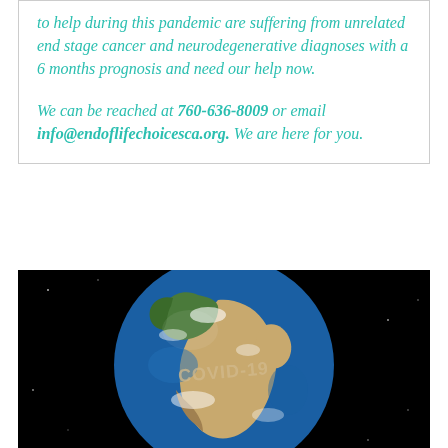to help during this pandemic are suffering from unrelated end stage cancer and neurodegenerative diagnoses with a 6 months prognosis and need our help now.

We can be reached at 760-636-8009 or email info@endoflifechoicesca.org. We are here for you.
[Figure (photo): A photograph of Earth on a black background with the text 'COVID-19' stamped across Africa/Middle East region.]